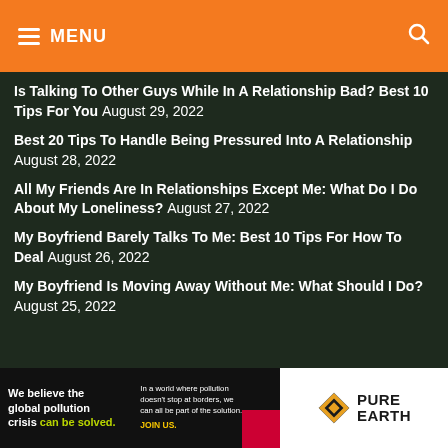MENU
Is Talking To Other Guys While In A Relationship Bad? Best 10 Tips For You August 29, 2022
Best 20 Tips To Handle Being Pressured Into A Relationship August 28, 2022
All My Friends Are In Relationships Except Me: What Do I Do About My Loneliness? August 27, 2022
My Boyfriend Barely Talks To Me: Best 10 Tips For How To Deal August 26, 2022
My Boyfriend Is Moving Away Without Me: What Should I Do? August 25, 2022
[Figure (infographic): Pure Earth advertisement banner: We believe the global pollution crisis can be solved. In a world where pollution doesn't stop at borders, we can all be part of the solution. JOIN US. Pure Earth logo.]